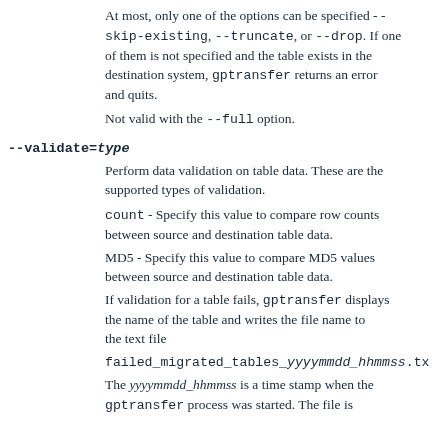At most, only one of the options can be specified --skip-existing, --truncate, or --drop. If one of them is not specified and the table exists in the destination system, gptransfer returns an error and quits.
Not valid with the --full option.
--validate=type
Perform data validation on table data. These are the supported types of validation.
count - Specify this value to compare row counts between source and destination table data.
MD5 - Specify this value to compare MD5 values between source and destination table data.
If validation for a table fails, gptransfer displays the name of the table and writes the file name to the text file
failed_migrated_tables_yyyymmdd_hhmmss.tx
The yyyymmdd_hhmmss is a time stamp when the gptransfer process was started. The file is